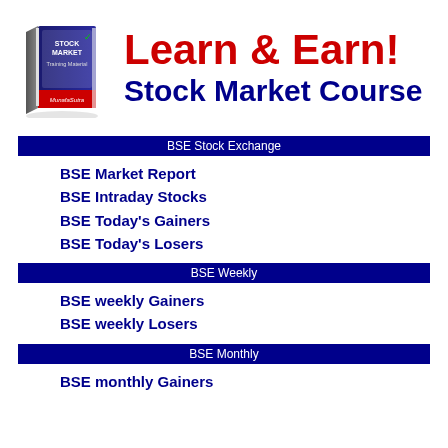[Figure (illustration): Stock market training book illustration with text 'STOCK MARKET Training Material MunafaSutra']
Learn & Earn!
Stock Market Course
BSE Stock Exchange
BSE Market Report
BSE Intraday Stocks
BSE Today's Gainers
BSE Today's Losers
BSE Weekly
BSE weekly Gainers
BSE weekly Losers
BSE Monthly
BSE monthly Gainers